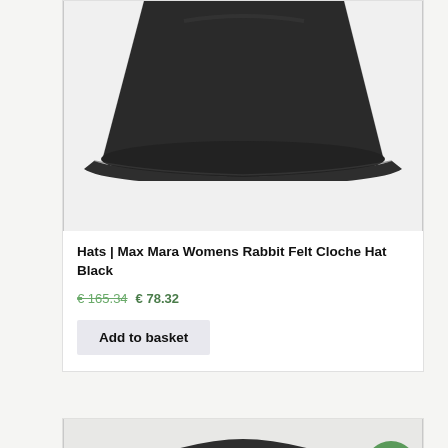[Figure (photo): Close-up photo of a dark charcoal/black rabbit felt cloche hat showing the brim and crown on a white background]
Hats | Max Mara Womens Rabbit Felt Cloche Hat Black
€ 165.34  € 78.32
Add to basket
[Figure (photo): Partial view of another hat product with a green Sale! badge]
Sale!